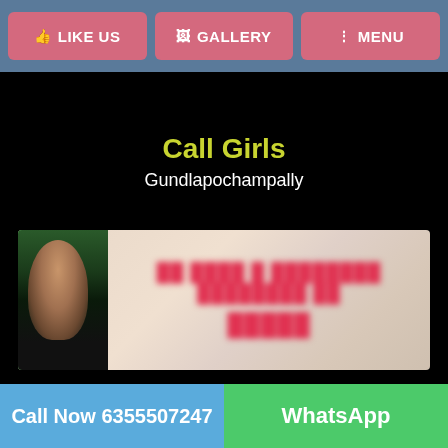LIKE US | GALLERY | MENU
Call Girls
Gundlapochampally
[Figure (photo): Blurred banner image with a person on the left side against a green strip background, with blurred red text in the center (illegible contact or promotional text).]
Call Now 6355507247 | WhatsApp